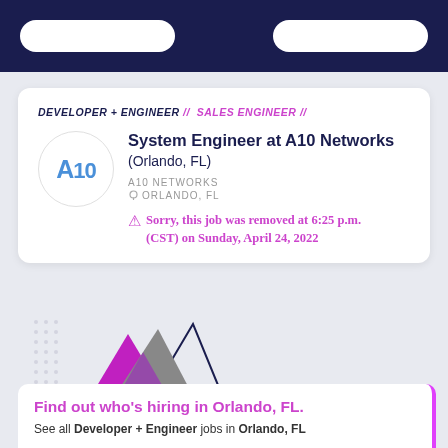Navigation bar with two pill buttons
DEVELOPER + ENGINEER // SALES ENGINEER //
System Engineer at A10 Networks (Orlando, FL)
A10 NETWORKS
ORLANDO, FL
Sorry, this job was removed at 6:25 p.m. (CST) on Sunday, April 24, 2022
[Figure (illustration): Decorative triangle graphic with purple/magenta geometric shapes and a photo of engineers working, overlaid on dot-pattern background]
Find out who's hiring in Orlando, FL.
See all Developer + Engineer jobs in Orlando, FL